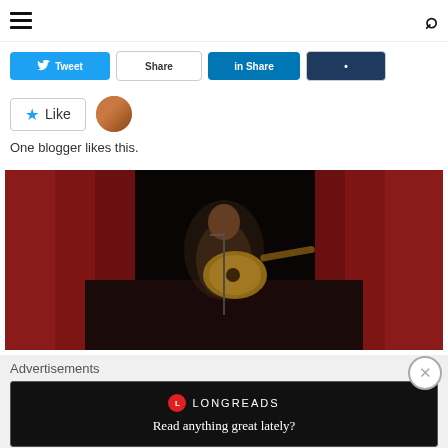≡  🔍
[Figure (screenshot): Social share buttons row: Twitter, Facebook/share, LinkedIn, and another share button]
[Figure (screenshot): Like button with star icon and avatar thumbnail]
One blogger likes this.
[Figure (photo): A person playing acoustic guitar on a dimly lit stage with red curtains in the background]
Advertisements
[Figure (screenshot): Longreads advertisement banner — Read anything great lately?]